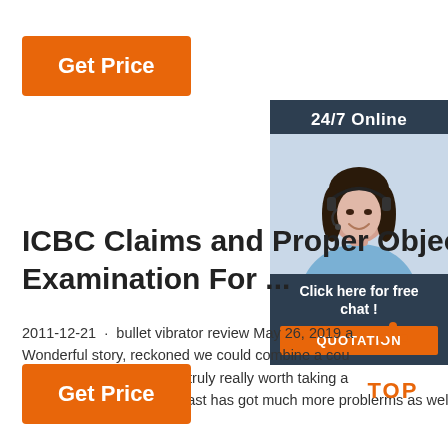[Figure (other): Orange 'Get Price' button at top left]
[Figure (other): Sidebar with '24/7 Online' header, photo of woman with headset, 'Click here for free chat!' text, and orange QUOTATION button on dark background]
ICBC Claims and Proper Objecti Examination For ...
2011-12-21 · bullet vibrator review May 26, 2019 a Wonderful story, reckoned we could combine a cou information, nevertheless truly really worth taking a did one learn about Mid East has got much more problerms as well
[Figure (other): Orange 'Get Price' button at bottom left]
[Figure (logo): TOP logo with orange dots arranged in triangle, text 'TOP' in orange]